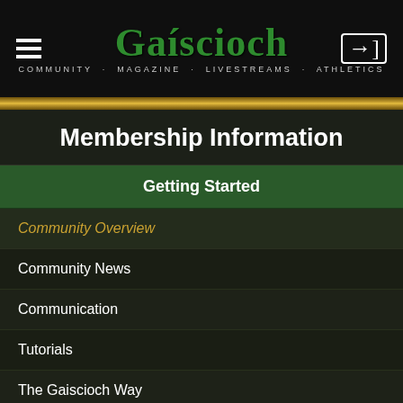[Figure (logo): Gaiscioch community website logo with green Celtic-style text, hamburger menu icon on left, login icon on right, dark background with subtitle COMMUNITY MAGAZINE LIVESTREAMS ATHLETICS]
Membership Information
Getting Started
Community Overview
Community News
Communication
Tutorials
The Gaiscioch Way
Community Structure
Family Policies